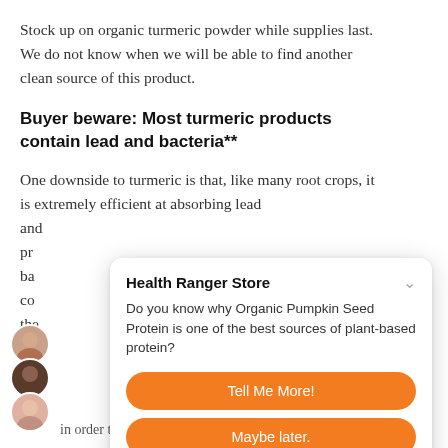Stock up on organic turmeric powder while supplies last. We do not know when we will be able to find another clean source of this product.
Buyer beware: Most turmeric products contain lead and bacteria**
One downside to turmeric is that, like many root crops, it is extremely efficient at absorbing lead an... pr... ba... co... the... ic...
[Figure (other): Chat/popup widget from Health Ranger Store asking 'Do you know why Organic Pumpkin Seed Protein is one of the best sources of plant-based protein?' with two orange buttons: 'Tell Me More!' and 'Maybe later.']
In order to maintain optimal health, it is crucial to